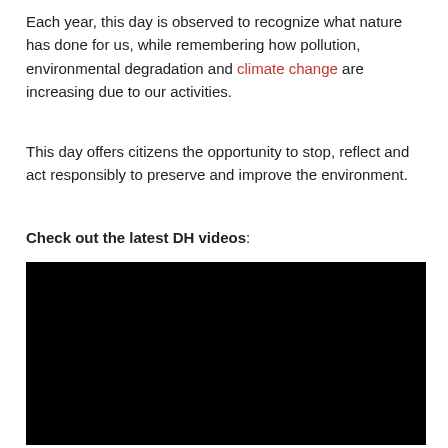Each year, this day is observed to recognize what nature has done for us, while remembering how pollution, environmental degradation and climate change are increasing due to our activities.
This day offers citizens the opportunity to stop, reflect and act responsibly to preserve and improve the environment.
Check out the latest DH videos:
[Figure (other): Embedded video player with black background]